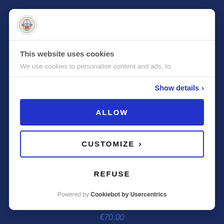[Figure (logo): Small circular logo icon with globe/ship imagery]
This website uses cookies
We use cookies to personalise content and ads, to
Show details >
ALLOW
CUSTOMIZE >
REFUSE
Powered by Cookiebot by Usercentrics
€70.00